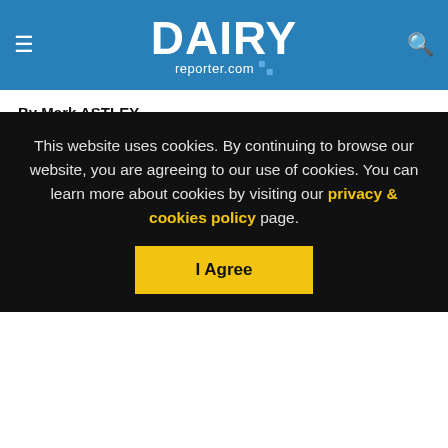DAIRY reporter.com
By Mark ASTLEY
20-Nov-2013 - Last updated on 20-Nov-2013 at 07:43 GMT
RELATED TAGS: Milk, Africa, West africa
In this, the first instalment of our Eye on Emerging Markets series, one of West Africa's most successful dairy brands, Fan Milk, pinpoints the key to cracking the region - street distribution.
This website uses cookies. By continuing to browse our website, you are agreeing to our use of cookies. You can learn more about cookies by visiting our privacy & cookies policy page.
I Agree